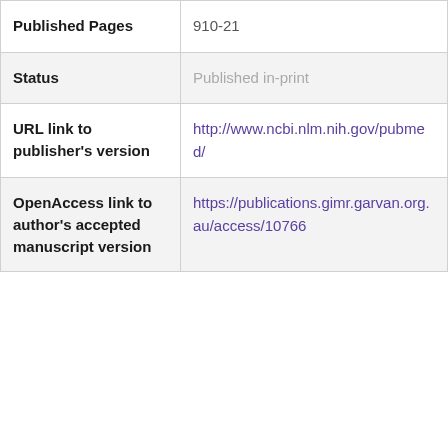| Field | Value |
| --- | --- |
| Published Pages | 910-21 |
| Status | Published in-print |
| URL link to publisher's version | http://www.ncbi.nlm.nih.gov/pubmed/ |
| OpenAccess link to author's accepted manuscript version | https://publications.gimr.garvan.org.au/access/10766 |